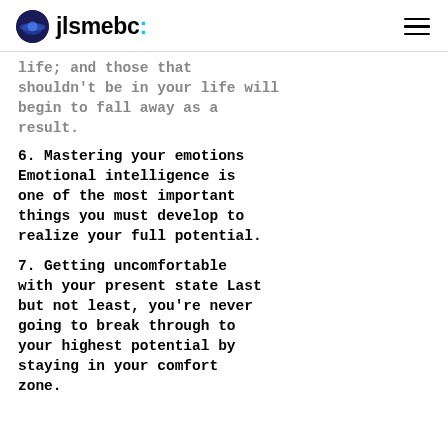jlsmebc:
life; and those that shouldn’t be in your life will begin to fall away as a result.
6. Mastering your emotions Emotional intelligence is one of the most important things you must develop to realize your full potential.
7. Getting uncomfortable with your present state Last but not least, you’re never going to break through to your highest potential by staying in your comfort zone.